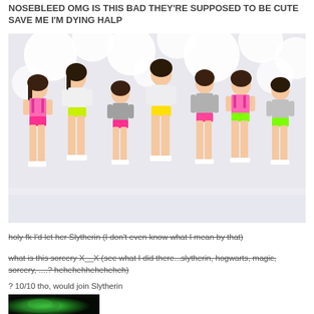NOSEBLEED OMG IS THIS BAD THEY'RE SUPPOSED TO BE CUTE SAVE ME I'M DYING HALP
[Figure (photo): Group of young women in colorful outfits (pink, yellow, green, gray) posing in a white studio with circle decorations in background]
holy fk I'd let her Slytherin (I don't even know what I mean by that)
what is this sorcery X__X (see what I did there...slytherin, hogwarts, magic, sorcery, ....? hehehehheheheheh)
? 10/10 tho, would join Slytherin
[Figure (photo): Dark green glowing image, appears to be a fantasy/game character]